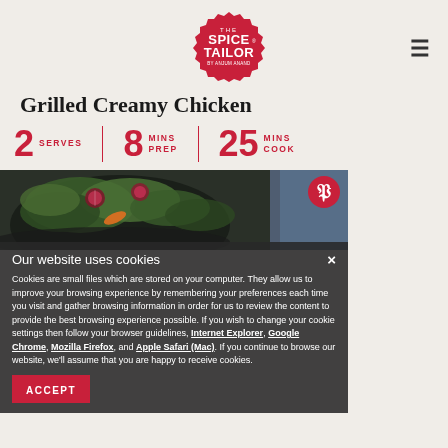[Figure (logo): The Spice Tailor logo — circular red badge with white text reading THE SPICE TAILOR BY ANJUM ANAND]
Grilled Creamy Chicken
2 SERVES  |  8 MINS PREP  |  25 MINS COOK
[Figure (photo): Photo of a salad dish with green leaves, radish slices, and colorful vegetables in a bowl]
Our website uses cookies
Cookies are small files which are stored on your computer. They allow us to improve your browsing experience by remembering your preferences each time you visit and gather browsing information in order for us to review the content to provide the best browsing experience possible. If you wish to change your cookie settings then follow your browser guidelines, Internet Explorer, Google Chrome, Mozilla Firefox, and Apple Safari (Mac). If you continue to browse our website, we'll assume that you are happy to receive cookies.
ACCEPT